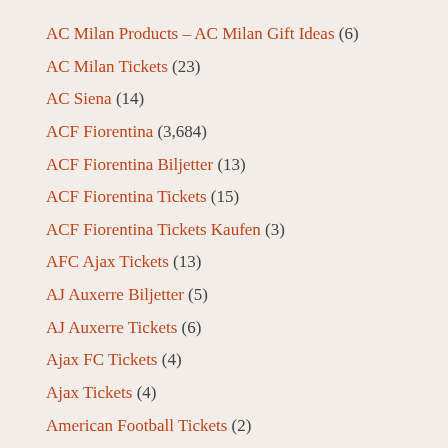AC Milan Products – AC Milan Gift Ideas (6)
AC Milan Tickets (23)
AC Siena (14)
ACF Fiorentina (3,684)
ACF Fiorentina Biljetter (13)
ACF Fiorentina Tickets (15)
ACF Fiorentina Tickets Kaufen (3)
AFC Ajax Tickets (13)
AJ Auxerre Biljetter (5)
AJ Auxerre Tickets (6)
Ajax FC Tickets (4)
Ajax Tickets (4)
American Football Tickets (2)
Angers SCO Biljetter (4)